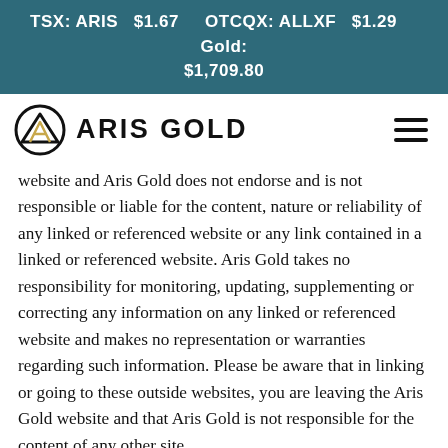TSX: ARIS  $1.67    OTCQX: ALLXF  $1.29    Gold: $1,709.80
[Figure (logo): Aris Gold logo with circular mountain/arrow icon and text ARIS GOLD, plus hamburger menu icon on the right]
website and Aris Gold does not endorse and is not responsible or liable for the content, nature or reliability of any linked or referenced website or any link contained in a linked or referenced website. Aris Gold takes no responsibility for monitoring, updating, supplementing or correcting any information on any linked or referenced website and makes no representation or warranties regarding such information. Please be aware that in linking or going to these outside websites, you are leaving the Aris Gold website and that Aris Gold is not responsible for the content of any other site.